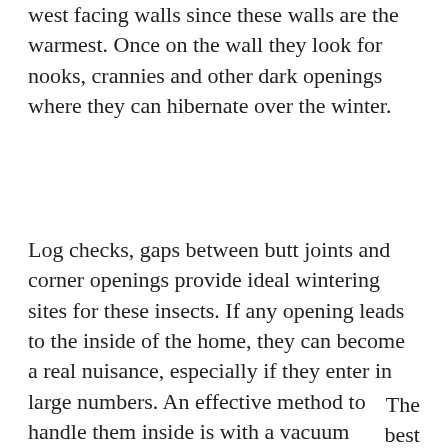west facing walls since these walls are the warmest. Once on the wall they look for nooks, crannies and other dark openings where they can hibernate over the winter.
Log checks, gaps between butt joints and corner openings provide ideal wintering sites for these insects. If any opening leads to the inside of the home, they can become a real nuisance, especially if they enter in large numbers. An effective method to handle them inside is with a vacuum cleaner. Spraying them with pesticides is unnecessary and unhealthy.
The best